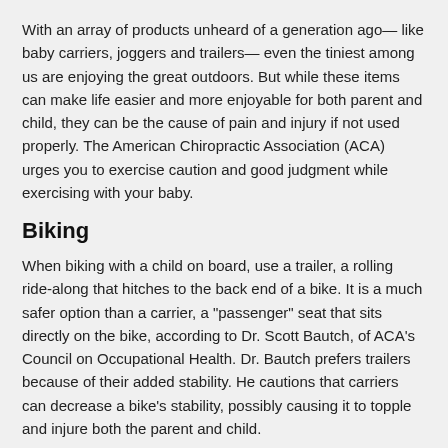With an array of products unheard of a generation ago— like baby carriers, joggers and trailers— even the tiniest among us are enjoying the great outdoors. But while these items can make life easier and more enjoyable for both parent and child, they can be the cause of pain and injury if not used properly. The American Chiropractic Association (ACA) urges you to exercise caution and good judgment while exercising with your baby.
Biking
When biking with a child on board, use a trailer, a rolling ride-along that hitches to the back end of a bike. It is a much safer option than a carrier, a "passenger" seat that sits directly on the bike, according to Dr. Scott Bautch, of ACA's Council on Occupational Health. Dr. Bautch prefers trailers because of their added stability. He cautions that carriers can decrease a bike's stability, possibly causing it to topple and injure both the parent and child.
To further ensure the child's safety while biking, keep the following tips in mind: